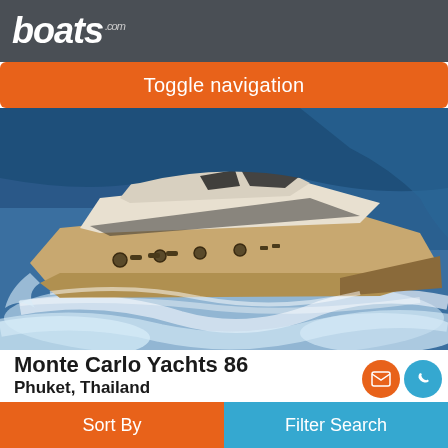boats.com
Toggle navigation
[Figure (photo): Aerial view of a large white and gold luxury motor yacht (Monte Carlo Yachts 86) speeding through blue water, creating white wake spray on both sides.]
Monte Carlo Yachts 86
Phuket, Thailand
2013
$3,243,599
Seller Asia Yachting, Thailand
Sort By   Filter Search